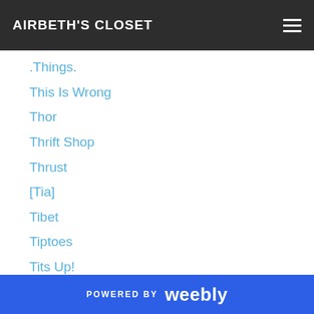AIRBETH'S CLOSET
.Things.
This Is Wrong
Thor
Thrift Shop
Thrust
[Tia]
Tibet
Tiptoes
Tits Up!
TitsUp!
TMD
{T.O.D}
ToddleeDoo
Tokya.Girl
Tomboi
POWERED BY weebly